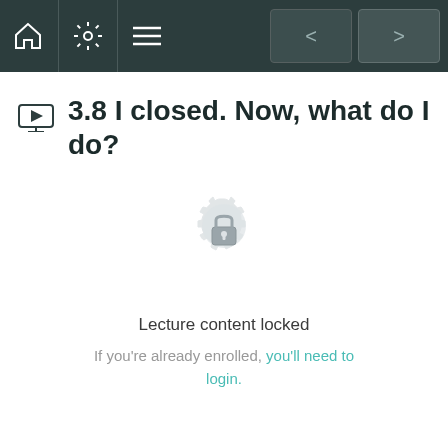Navigation bar with home, settings, menu icons and back/forward buttons
3.8 I closed. Now, what do I do?
[Figure (illustration): A locked padlock icon centered in a decorative mandala/gear-shaped badge, indicating locked content]
Lecture content locked
If you're already enrolled, you'll need to login.